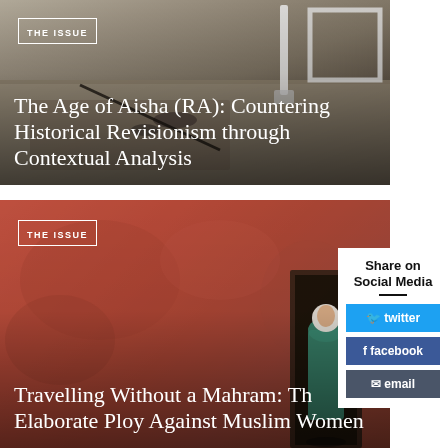[Figure (photo): A desk scene with writing/art implements photographed from above, dark and moody tones, overlaid with article title text.]
THE ISSUE
The Age of Aisha (RA): Countering Historical Revisionism through Contextual Analysis
[Figure (photo): A reddish-orange textured wall with a doorway in which a figure wearing a hijab stands, photographed from outside.]
THE ISSUE
Travelling Without a Mahram: The Elaborate Ploy Against Muslim Women
Share on Social Media
twitter
facebook
email